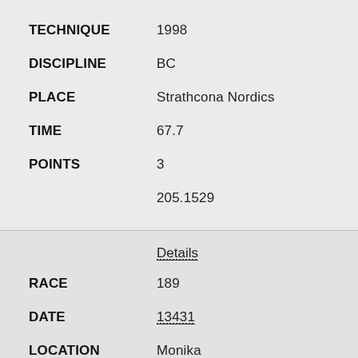TECHNIQUE: 1998
DISCIPLINE: BC
PLACE: Strathcona Nordics
TIME: 67.7
POINTS: 3
205.1529
Details
RACE: 189
DATE: 13431
LOCATION: Monika